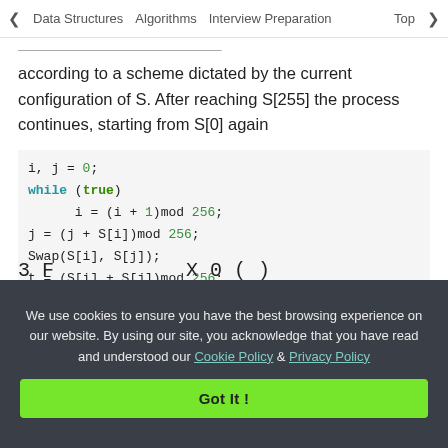< Data Structures   Algorithms   Interview Preparation   Top>
according to a scheme dictated by the current configuration of S. After reaching S[255] the process continues, starting from S[0] again
[Figure (screenshot): Code snippet showing RC4 PRGA algorithm: i,j=0; while(true) { i=(i+1)mod 256; j=(j+S[i])mod 256; Swap(S[i],S[j]); t=(S[i]+S[j])mod 256; k=S[t]; }]
We use cookies to ensure you have the best browsing experience on our website. By using our site, you acknowledge that you have read and understood our Cookie Policy & Privacy Policy
Got It !